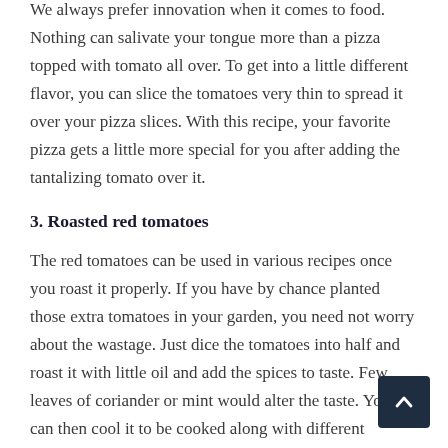We always prefer innovation when it comes to food. Nothing can salivate your tongue more than a pizza topped with tomato all over. To get into a little different flavor, you can slice the tomatoes very thin to spread it over your pizza slices. With this recipe, your favorite pizza gets a little more special for you after adding the tantalizing tomato over it.
3. Roasted red tomatoes
The red tomatoes can be used in various recipes once you roast it properly. If you have by chance planted those extra tomatoes in your garden, you need not worry about the wastage. Just dice the tomatoes into half and roast it with little oil and add the spices to taste. Few leaves of coriander or mint would alter the taste. You can then cool it to be cooked along with different recipes.